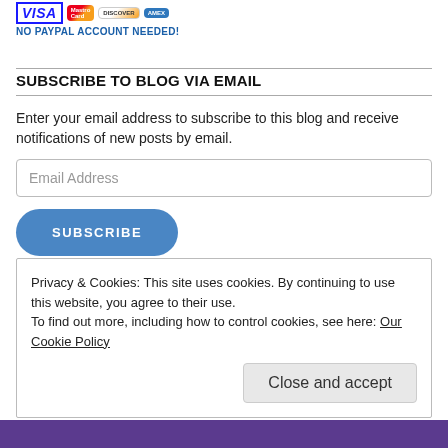[Figure (logo): PayPal payment logos: VISA, Mastercard, Discover, American Express, with text NO PAYPAL ACCOUNT NEEDED!]
SUBSCRIBE TO BLOG VIA EMAIL
Enter your email address to subscribe to this blog and receive notifications of new posts by email.
Email Address
SUBSCRIBE
Join 2,536 other followers
Privacy & Cookies: This site uses cookies. By continuing to use this website, you agree to their use.
To find out more, including how to control cookies, see here: Our Cookie Policy
Close and accept